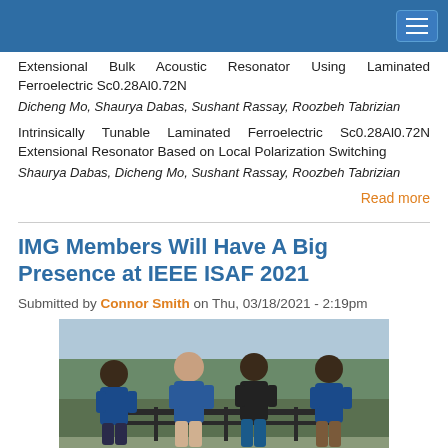[Navigation bar with hamburger menu]
Extensional Bulk Acoustic Resonator Using Laminated Ferroelectric Sc0.28Al0.72N
Dicheng Mo, Shaurya Dabas, Sushant Rassay, Roozbeh Tabrizian
Intrinsically Tunable Laminated Ferroelectric Sc0.28Al0.72N Extensional Resonator Based on Local Polarization Switching
Shaurya Dabas, Dicheng Mo, Sushant Rassay, Roozbeh Tabrizian
Read more
IMG Members Will Have A Big Presence at IEEE ISAF 2021
Submitted by Connor Smith on Thu, 03/18/2021 - 2:19pm
[Figure (photo): Four men standing near a railing outdoors, three wearing blue polo shirts and one in a black shirt, giving thumbs up]